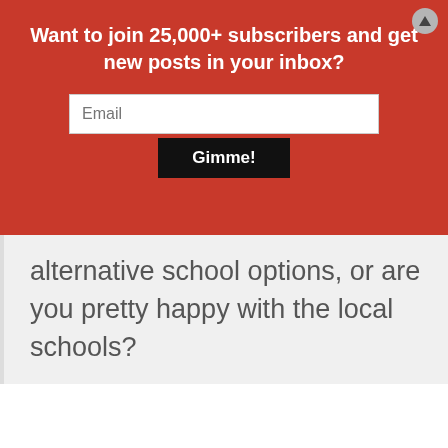Want to join 25,000+ subscribers and get new posts in your inbox?
Email
Gimme!
alternative school options, or are you pretty happy with the local schools?
Reply
Justin
October 18, 2016 at 8:29 pm